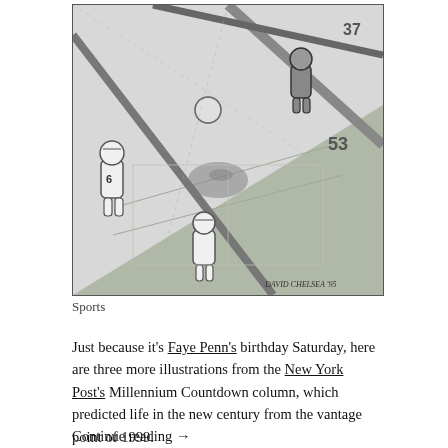[Figure (illustration): Black and white pen illustration by David Chelsea (signed 'David Chelsea 95') depicting a close-up overhead view of a foosball (table football) table, showing robotic-looking player figurines on rods, a ball, and the playing surface with field markings. Numbers visible on the rods.]
Sports
Just because it's Faye Penn's birthday Saturday, here are three more illustrations from the New York Post's Millennium Countdown column, which predicted life in the new century from the vantage point of 1999.
Continue reading →